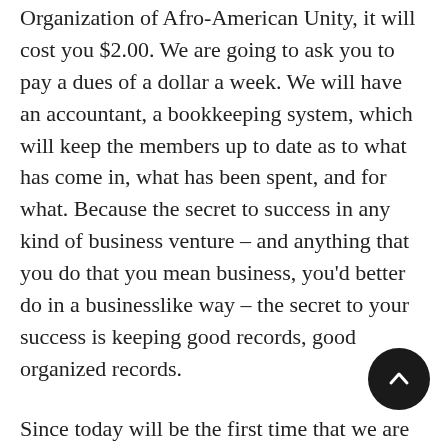Organization of Afro-American Unity, it will cost you $2.00. We are going to ask you to pay a dues of a dollar a week. We will have an accountant, a bookkeeping system, which will keep the members up to date as to what has come in, what has been spent, and for what. Because the secret to success in any kind of business venture – and anything that you do that you mean business, you'd better do in a businesslike way – the secret to your success is keeping good records, good organized records.
Since today will be the first time that we are opening the books for membership, our next meeting will be next Sunday here. And we will then have a membership. And we'll be